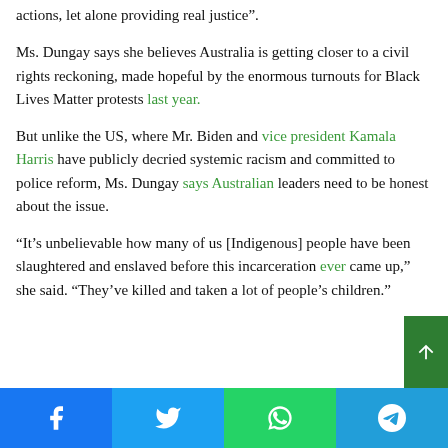actions, let alone providing real justice”.
Ms. Dungay says she believes Australia is getting closer to a civil rights reckoning, made hopeful by the enormous turnouts for Black Lives Matter protests last year.
But unlike the US, where Mr. Biden and vice president Kamala Harris have publicly decried systemic racism and committed to police reform, Ms. Dungay says Australian leaders need to be honest about the issue.
“It’s unbelievable how many of us [Indigenous] people have been slaughtered and enslaved before this incarceration ever came up,” she said. “They’ve killed and taken a lot of people’s children.”